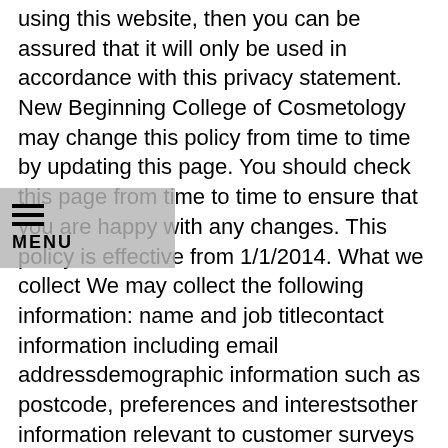using this website, then you can be assured that it will only be used in accordance with this privacy statement. New Beginning College of Cosmetology may change this policy from time to time by updating this page. You should check this page from time to time to ensure that you are happy with any changes. This policy is effective from 1/1/2014. What we collect We may collect the following information: name and job titlecontact information including email addressdemographic information such as postcode, preferences and interestsother information relevant to customer surveys and/or offers What we do with the information we gather We require this information to understand your needs and provide you with a better service, and in particular for the following reasons: Internal record keeping.We may use the information to improve our products and services.We may periodically send promotional email about new products, special offers or other information which we think you may find